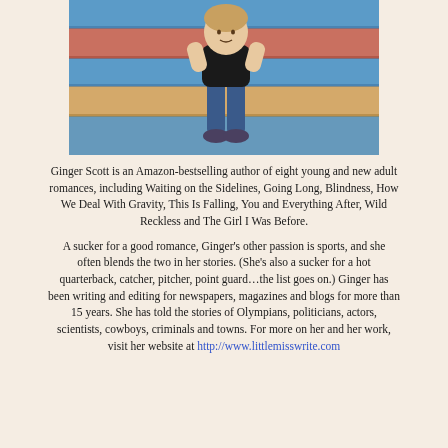[Figure (photo): Young person sitting on colorful bleachers/steps (blue, red, blue stripes), photographed from above]
Ginger Scott is an Amazon-bestselling author of eight young and new adult romances, including Waiting on the Sidelines, Going Long, Blindness, How We Deal With Gravity, This Is Falling, You and Everything After, Wild Reckless and The Girl I Was Before.
A sucker for a good romance, Ginger's other passion is sports, and she often blends the two in her stories. (She's also a sucker for a hot quarterback, catcher, pitcher, point guard…the list goes on.) Ginger has been writing and editing for newspapers, magazines and blogs for more than 15 years. She has told the stories of Olympians, politicians, actors, scientists, cowboys, criminals and towns. For more on her and her work, visit her website at http://www.littlemisswrite.com